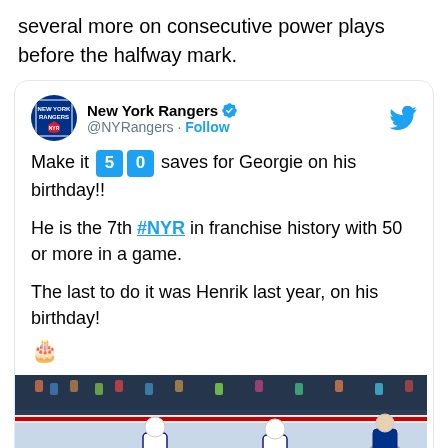several more on consecutive power plays before the halfway mark.
[Figure (screenshot): Embedded tweet from New York Rangers (@NYRangers) with verified badge and Follow button. Tweet text: Make it 5 0 saves for Georgie on his birthday!! He is the 7th #NYR in franchise history with 50 or more in a game. The last to do it was Henrik last year, on his birthday! 🎂. Includes a photo of hockey players on ice.]